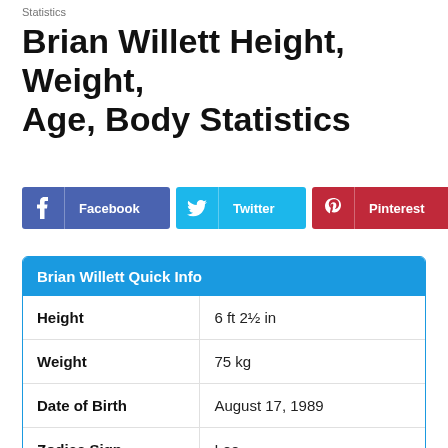Statistics
Brian Willett Height, Weight, Age, Body Statistics
[Figure (other): Social share buttons: Facebook, Twitter, Pinterest, and a dropdown more button]
| Brian Willett Quick Info |  |
| --- | --- |
| Height | 6 ft 2½ in |
| Weight | 75 kg |
| Date of Birth | August 17, 1989 |
| Zodiac Sign | Leo |
| Spouse | Christin Willett |